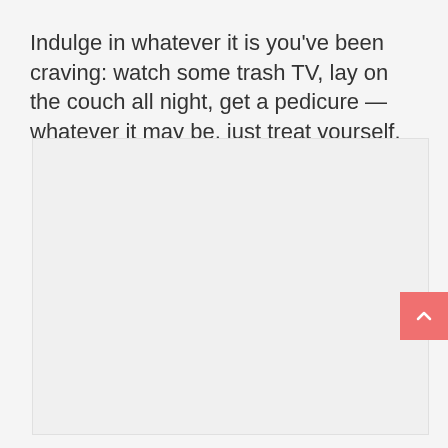Indulge in whatever it is you’ve been craving: watch some trash TV, lay on the couch all night, get a pedicure — whatever it may be, just treat yourself.
[Figure (other): Light gray rectangular placeholder image area below the text block]
[Figure (other): Pink scroll-to-top button with upward chevron arrow on the right edge]